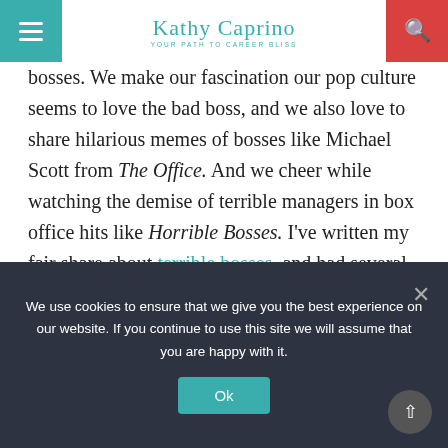Kathy Caprino – Your Path to Career Bliss
bosses. We make our fascination our pop culture seems to love the bad boss, and we also love to share hilarious memes of bosses like Michael Scott from The Office. And we cheer while watching the demise of terrible managers in box office hits like Horrible Bosses. I've written my fair share about terrible bosses, and had several in my corporate life and understand the challenge they pose to employees and organizational success. And in my work as an executive and career coach over the past 15 years, I've fielded countless queries about how to handle...
We use cookies to ensure that we give you the best experience on our website. If you continue to use this site we will assume that you are happy with it.